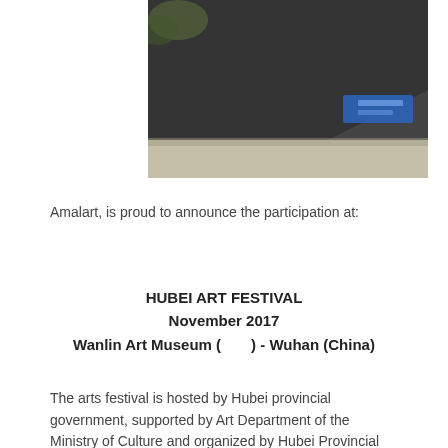[Figure (photo): Exterior view of a building, dark architectural structure with a blue sign or banner, shot in a blurred/bokeh style with concrete ground visible]
Amalart, is proud to announce the participation at:
HUBEI ART FESTIVAL
November 2017
Wanlin Art Museum (　　) - Wuhan (China)
The arts festival is hosted by Hubei provincial government, supported by Art Department of the Ministry of Culture and organized by Hubei Provincial